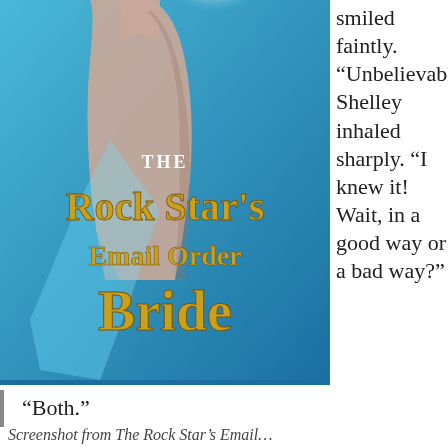[Figure (illustration): Book cover for 'The Rock Star's Email Order Bride' showing a shirtless male figure from behind against a blue background, with gold and white stylized title text.]
smiled faintly. “Unbelievable.” Shelley inhaled sharply. “I knew it! Wait, in a good way or a bad way?”
“Both.”
Screenshot from The Rock Star’s Email...